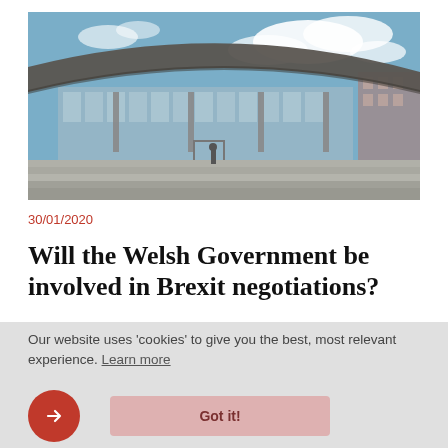[Figure (photo): Exterior view of the Senedd (Welsh Parliament) building in Cardiff Bay, featuring its distinctive slate canopy roof, glass facade, wide stone steps, and surrounding plaza under a partly cloudy blue sky.]
30/01/2020
Will the Welsh Government be involved in Brexit negotiations?
Our website uses 'cookies' to give you the best, most relevant experience. Learn more
Got it!